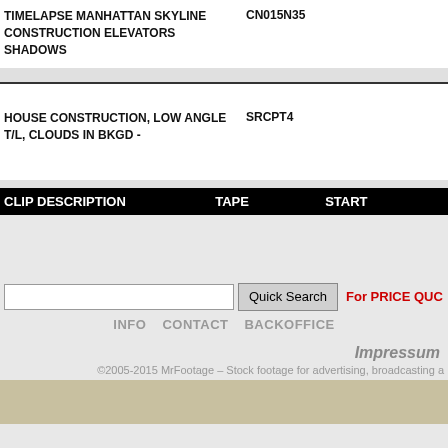TIMELAPSE MANHATTAN SKYLINE CONSTRUCTION ELEVATORS SHADOWS	CN015N35
HOUSE CONSTRUCTION, LOW ANGLE T/L, CLOUDS IN BKGD -	SRCPT4
| CLIP DESCRIPTION | TAPE | START |
| --- | --- | --- |
Quick Search
For PRICE QUC
INFO   CONTACT   BACKOFFICE
Impressum
©2005-2015 MrFootage – Stock footage for advertising, broadcasting a